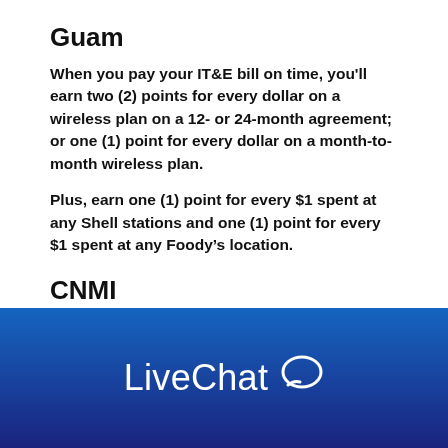Guam
When you pay your IT&E bill on time, you'll earn two (2) points for every dollar on a wireless plan on a 12- or 24-month agreement; or one (1) point for every dollar on a month-to-month wireless plan.
Plus, earn one (1) point for every $1 spent at any Shell stations and one (1) point for every $1 spent at any Foody’s location.
CNMI
When you pay your IT&E bill on time, you'll
[Figure (other): LiveChat logo with speech bubble icon on a blue gradient background]